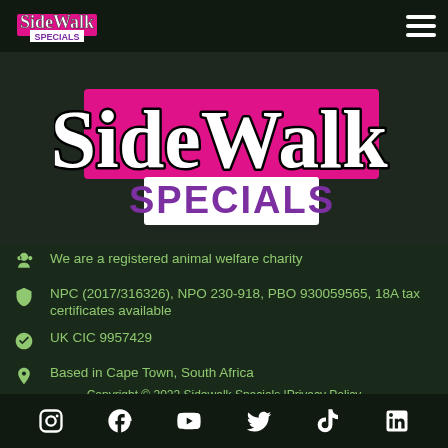Sidewalk Specials (logo) navigation bar
[Figure (logo): Sidewalk Specials logo — scripted 'SideWalk' in black/white lettering over a pink/magenta horizontal band, with 'SPECIALS' in bold purple on white below]
We are a registered animal welfare charity
NPC (2017/316326), NPO 230-918, PBO 930059565, 18A tax certificates available
UK CIC 9957429
Based in Cape Town, South Africa
Copyright © 2022 Sidewalk Specials |Privacy Policy
[Figure (logo): Social media icons row: Instagram, Facebook, YouTube, Twitter/X, TikTok, LinkedIn — white icons on dark background]